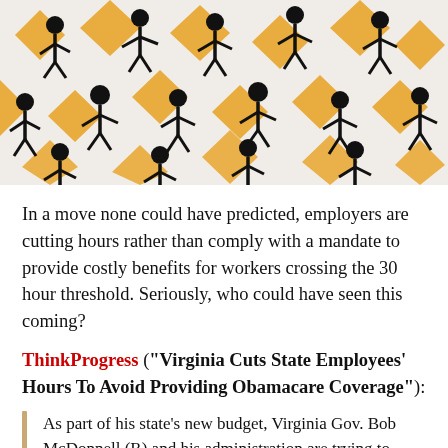[Figure (photo): Overhead view of many black stick-figure people walking, interspersed with orange/yellow diamond-shaped markers, against a white background.]
In a move none could have predicted, employers are cutting hours rather than comply with a mandate to provide costly benefits for workers crossing the 30 hour threshold. Seriously, who could have seen this coming?
ThinkProgress ("Virginia Cuts State Employees' Hours To Avoid Providing Obamacare Coverage"):
As part of his state's new budget, Virginia Gov. Bob McDonnell (R) and his administration are trying to force potentially tens of thousands of public sector employees in